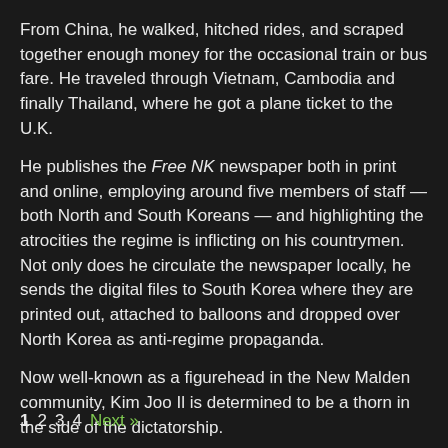From China, he walked, hitched rides, and scraped together enough money for the occasional train or bus fare. He traveled through Vietnam, Cambodia and finally Thailand, where he got a plane ticket to the U.K.
He publishes the Free NK newspaper both in print and online, employing around five members of staff — both North and South Koreans — and highlighting the atrocities the regime is inflicting on his countrymen. Not only does he circulate the newspaper locally, he sends the digital files to South Korea where they are printed out, attached to balloons and dropped over North Korea as anti-regime propaganda.
Now well-known as a figurehead in the New Malden community, Kim Joo Il is determined to be a thorn in the side of the dictatorship.
[NBC]
1 2 3 4 Next »